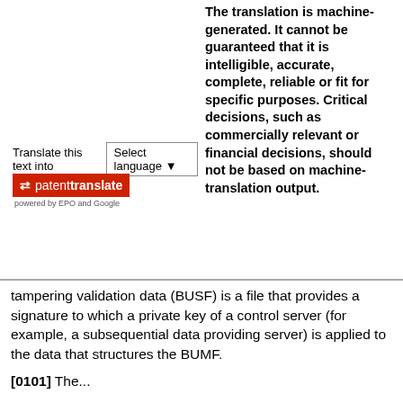Translate this text into [Select language ▾]
[Figure (logo): PatentTranslate logo: red rectangle with arrows icon and 'patenttranslate' text, powered by EPO and Google]
The translation is machine-generated. It cannot be guaranteed that it is intelligible, accurate, complete, reliable or fit for specific purposes. Critical decisions, such as commercially relevant or financial decisions, should not be based on machine-translation output.
tampering validation data (BUSF) is a file that provides a signature to which a private key of a control server (for example, a subsequential data providing server) is applied to the data that structures the BUMF.
[0101] The...